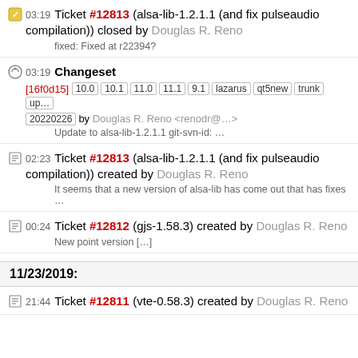03:19 Ticket #12813 (alsa-lib-1.2.1.1 (and fix pulseaudio compilation)) closed by Douglas R. Reno
fixed: Fixed at r22394?
03:19 Changeset [16f0d15] 10.0 10.1 11.0 11.1 9.1 lazarus qt5new trunk up 20220226 by Douglas R. Reno <renodr@...>
Update to alsa-lib-1.2.1.1 git-svn-id: …
02:23 Ticket #12813 (alsa-lib-1.2.1.1 (and fix pulseaudio compilation)) created by Douglas R. Reno
It seems that a new version of alsa-lib has come out that has fixes …
00:24 Ticket #12812 (gjs-1.58.3) created by Douglas R. Reno
New point version […]
11/23/2019:
21:44 Ticket #12811 (vte-0.58.3) created by Douglas R. Reno